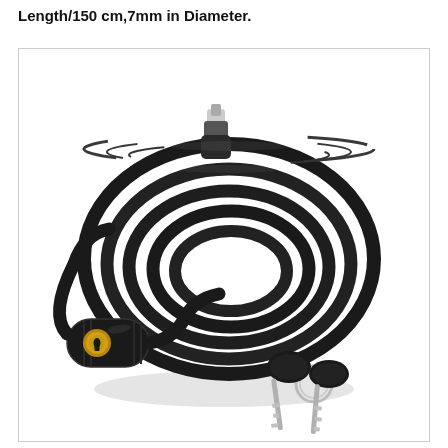Length/150 cm,7mm in Diameter.
[Figure (photo): A coiled black bicycle cable lock with a cylindrical lock body featuring a gold/brass key cylinder on the left side. The cable is coiled in multiple loops. A silver metal key insert is visible at the top of the coil. Two black-headed keys on a metal ring are shown in the lower right corner of the image. White background.]